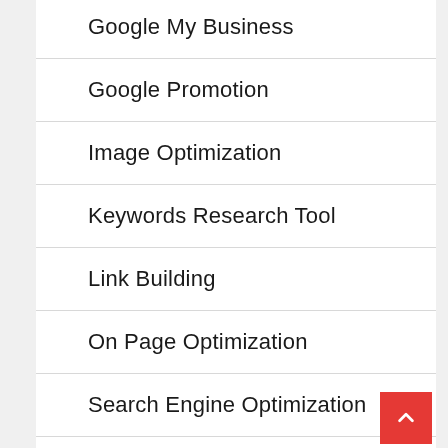Google My Business
Google Promotion
Image Optimization
Keywords Research Tool
Link Building
On Page Optimization
Search Engine Optimization
SEO Backlinks
SEO Tools